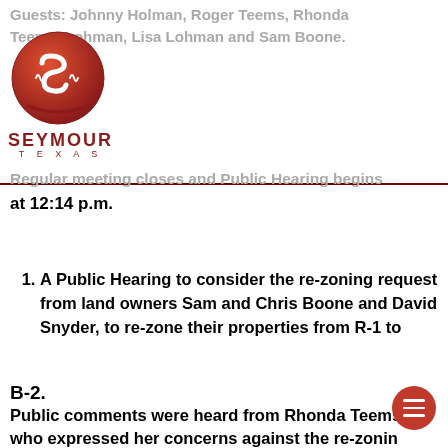Guests: Johnny Holman, Roger Teems, Rhonda Teems, Joe Lohman, Lisa Lohman and Sam Boone.
[Figure (logo): Seymour Texas city logo — red circular emblem with stylized S, and text SEYMOUR TEXAS below]
Regular meeting closes and Public Hearing begins at 12:14 p.m.
A Public Hearing to consider the re-zoning request from land owners Sam and Chris Boone and David Snyder, to re-zone their properties from R-1 to
B-2.
Public comments were heard from Rhonda Teems, who expressed her concerns against the re-zoning request. She stated that her main concern was for